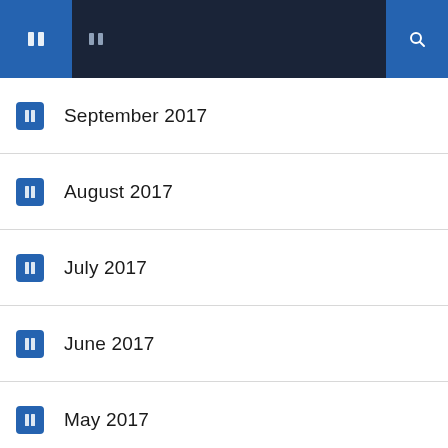Navigation header bar with menu and search icons
September 2017
August 2017
July 2017
June 2017
May 2017
March 2017
December 2016
November 2016
October 2016
September 2016